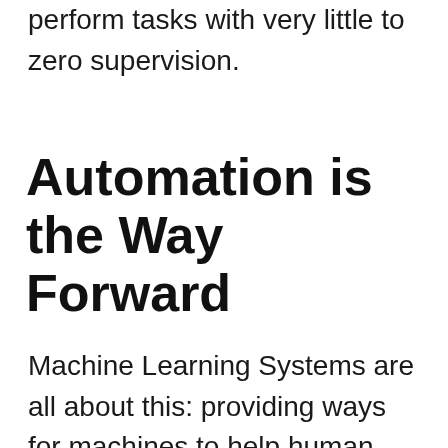perform tasks with very little to zero supervision.
Automation is the Way Forward
Machine Learning Systems are all about this: providing ways for machines to help human elevate their tasks by allowing automation of routine-like tasks. Take the example of manual data entry systems where the chances of error in inputting data is really